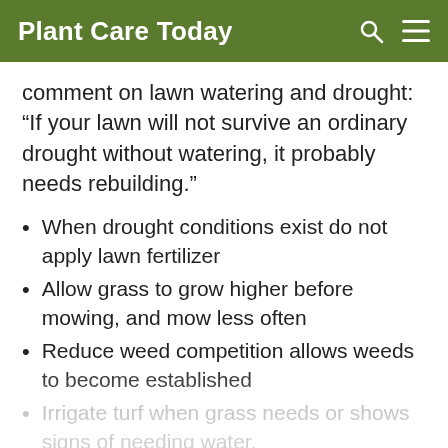Plant Care Today
comment on lawn watering and drought: “If your lawn will not survive an ordinary drought without watering, it probably needs rebuilding.”
When drought conditions exist do not apply lawn fertilizer
Allow grass to grow higher before mowing, and mow less often
Reduce weed competition allows weeds to become established
Irrigate turf when grass needs or shows signs of needing water.
Water to a depth of 6 or 8 inches